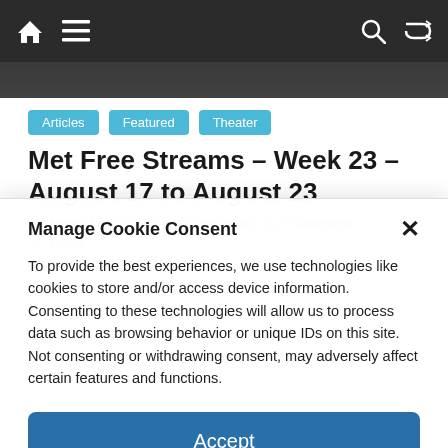Navigation bar with home, menu, search, and shuffle icons
[Figure (photo): Partial photo strip of people in a scene, dark background]
Articles
Featured
Theater
Met Free Streams – Week 23 – August 17 to August 23
August 17, 2020  Reno Arts News  0 Comments  Lynne
Manage Cookie Consent
To provide the best experiences, we use technologies like cookies to store and/or access device information. Consenting to these technologies will allow us to process data such as browsing behavior or unique IDs on this site. Not consenting or withdrawing consent, may adversely affect certain features and functions.
Accept
Cookie Policy